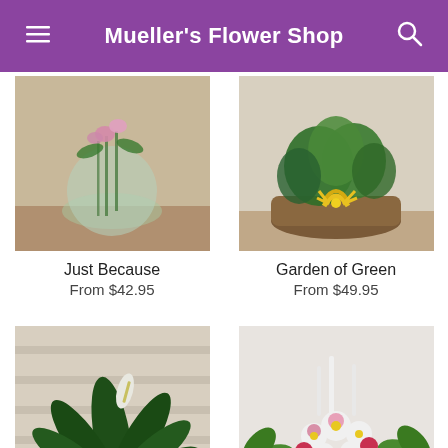Mueller's Flower Shop
[Figure (photo): Flower arrangement in a round glass vase with pink flowers and green stems]
Just Because
From $42.95
[Figure (photo): Garden of green plants in a wicker basket with yellow ribbon]
Garden of Green
From $49.95
[Figure (photo): Peace lily plant with large dark green leaves and white flowers against a slatted wall]
[Figure (photo): White floral arrangement with pink roses, daisies and greenery in a white container]